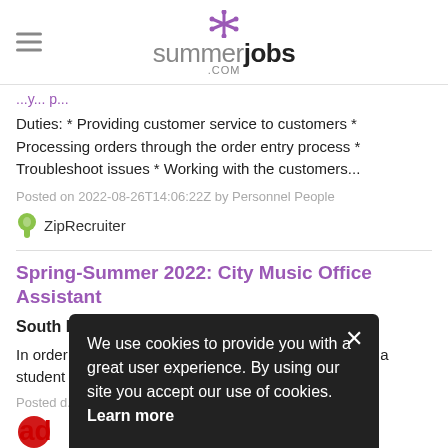summerjobs .COM
Duties: * Providing customer service to customers * Processing orders through the order entry process * Troubleshoot issues * Working with the customers...
Posted on 2022-08-26T14:06:22Z by Personnel People
[Figure (logo): ZipRecruiter logo with green tree icon]
Spring-Summer 2022: City Music Office Assistant
South Boston, Suffolk County
In order to participate in Berklee Student Employment, a student must fu... lee College...
Posted on...
[Figure (logo): Adecco partial logo]
We use cookies to provide you with a great user experience. By using our site you accept our use of cookies. Learn more